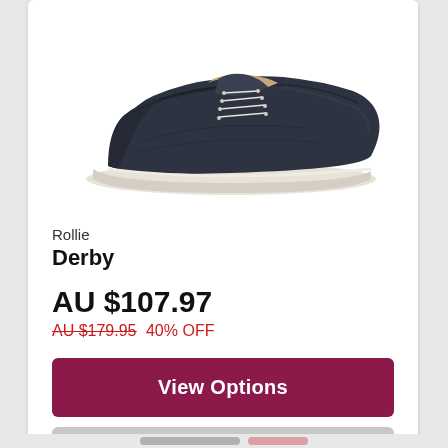[Figure (photo): A dark navy/charcoal lace-up derby shoe with white sole and white laces, photographed on a white background, facing right.]
Rollie
Derby
AU $107.97
AU $179.95 40% OFF
View Options
Add To Wishlist